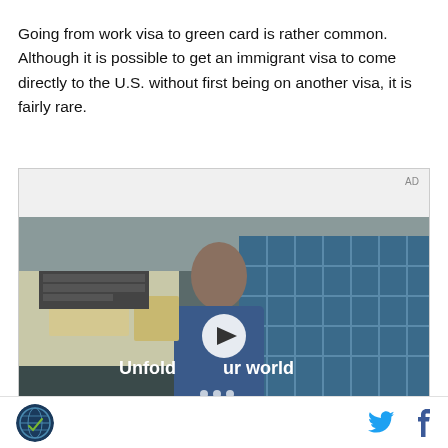Going from work visa to green card is rather common. Although it is possible to get an immigrant visa to come directly to the U.S. without first being on another visa, it is fairly rare.
[Figure (other): Advertisement video thumbnail showing a young man standing in front of a tiled glass storefront. Text overlay reads 'Unfold your world' with a play button. AD label in top right corner.]
Footer with circular logo on left and Twitter and Facebook social media icons on right.